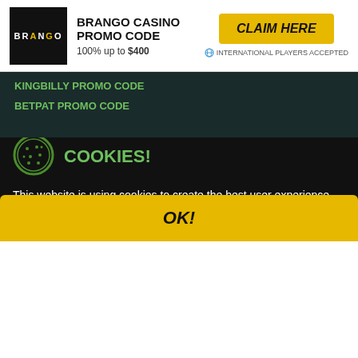[Figure (logo): Brango Casino logo — dark background with stylized brand name]
BRANGO CASINO PROMO CODE
100% up to $400
CLAIM HERE
INTERNATIONAL PLAYERS ACCEPTED
KINGBILLY PROMO CODE
BETPAT PROMO CODE
GAMBLING AWARENESS
We are committed to responsible gambling. Please keep gambling fun. You must be 18 years or over to use this site. Please, play responsibly. It is the
[Figure (illustration): Cookie icon — green circle with cookie/biscuit graphic]
COOKIES!
This website is using cookies to create the best user experience for you. Once you are using our website, you are giving consent to the usage of those cookies.
OK!